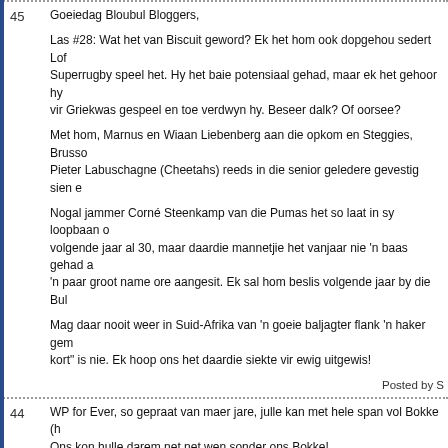45 Goeiedag Bloubul Bloggers,
Las #28: Wat het van Biscuit geword? Ek het hom ook dopgehou sedert Lof Superrugby speel het. Hy het baie potensiaal gehad, maar ek het gehoor hy vir Griekwas gespeel en toe verdwyn hy. Beseer dalk? Of oorsee?

Met hom, Marnus en Wiaan Liebenberg aan die opkom en Steggies, Brusso Pieter Labuschagne (Cheetahs) reeds in die senior geledere gevestig sien e

Nogal jammer Corné Steenkamp van die Pumas het so laat in sy loopbaan o volgende jaar al 30, maar daardie mannetjie het vanjaar nie 'n baas gehad a 'n paar groot name ore aangesit. Ek sal hom beslis volgende jaar by die Bul

Mag daar nooit weer in Suid-Afrika van 'n goeie baljagter flank 'n haker gem kort" is nie. Ek hoop ons het daardie siekte vir ewig uitgewis!
Posted by S
44 WP for Ever, so gepraat van maer jare, julle kan met hele span vol Bokke (h Ons kon hulle darem net net wen sonder ons Bokke!

WP het die BMT van Wayne Ferreira!
Posted by Fl
43 WP for Ever, behalwe die WC 2007 waar die Bulls en die Sharks in elk geva Burger al gewen? Hy is in dieselfde klas as Jannie Breedt....
Posted by Fl
42 @40 wat het julle gewen--volgende jaar eindig julle so 10de in S15--maer ja
Posted by W
41 WHAPPA!
Posted by B